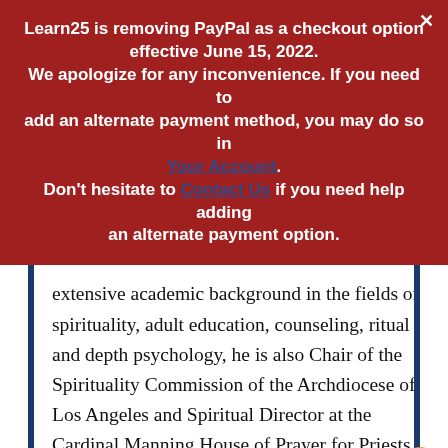Learn25 is removing PayPal as a checkout option effective June 15, 2022. We apologize for any inconvenience. If you need to add an alternate payment method, you may do so in Your Account. Don't hesitate to Contact Us if you need help adding an alternate payment option.
extensive academic background in the fields of spirituality, adult education, counseling, ritual and depth psychology, he is also Chair of the Spirituality Commission of the Archdiocese of Los Angeles and Spiritual Director at the Cardinal Manning House of Prayer for Priests. He has a Ph.D. from the Pacifica Graduate Institute, an M.Div. from St.